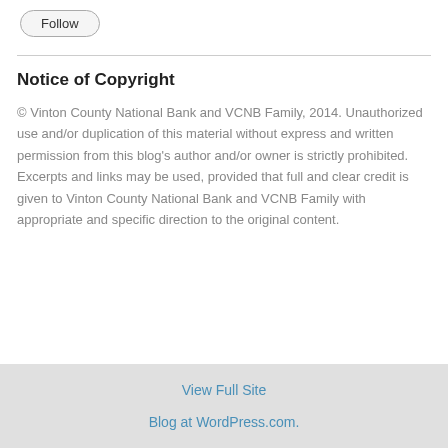[Figure (other): Follow button — rounded rectangle button with label 'Follow']
Notice of Copyright
© Vinton County National Bank and VCNB Family, 2014. Unauthorized use and/or duplication of this material without express and written permission from this blog's author and/or owner is strictly prohibited. Excerpts and links may be used, provided that full and clear credit is given to Vinton County National Bank and VCNB Family with appropriate and specific direction to the original content.
View Full Site
Blog at WordPress.com.